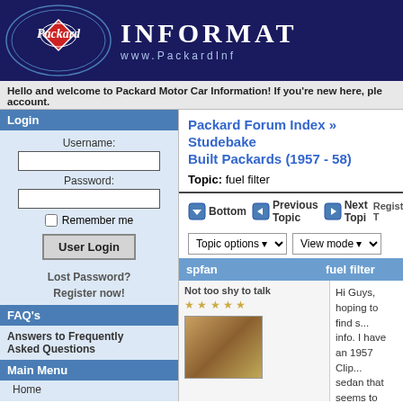[Figure (logo): Packard Motor Car Information website header banner with Packard script logo and text INFORMAT... www.PackardInf...]
Hello and welcome to Packard Motor Car Information! If you're new here, please create an account.
Login
Username:
Password:
Remember me
User Login
Lost Password?
Register now!
FAQ's
Answers to Frequently Asked Questions
Main Menu
Home
Forums
Packard Forum Index » Studebake... Built Packards (1957 - 58)
Topic: fuel filter
Bottom
Previous Topic
Next Topi...
Register T...
Topic options
View mode
| spfan | fuel filter |
| --- | --- |
| Not too shy to talk
[avatar image] | Hi Guys, hoping to find s... info. I have an 1957 Clip... sedan that seems to be... hesitateing, possibly for... issues. Two questions; #... does this car have a fuel... |